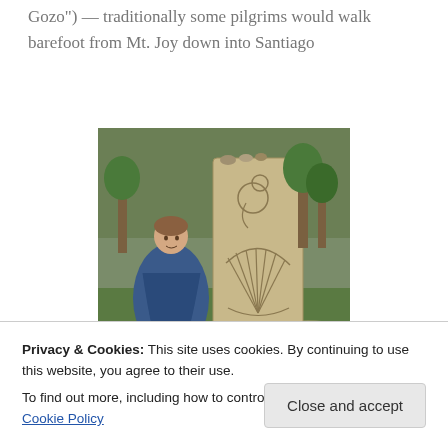Gozo") — traditionally some pilgrims would walk barefoot from Mt. Joy down into Santiago
[Figure (photo): A pilgrim wearing a blue poncho stands beside a large stone monument carved with a scallop shell and gourd (traditional Camino symbols), set in a green landscape with trees.]
Privacy & Cookies: This site uses cookies. By continuing to use this website, you agree to their use.
To find out more, including how to control cookies, see here: Cookie Policy